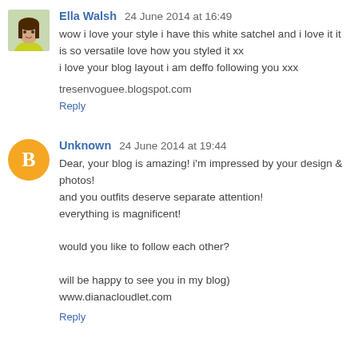Ella Walsh  24 June 2014 at 16:49
wow i love your style i have this white satchel and i love it it is so versatile love how you styled it xx
i love your blog layout i am deffo following you xxx

tresenvoguee.blogspot.com

Reply
Unknown  24 June 2014 at 19:44
Dear, your blog is amazing! i'm impressed by your design & photos!
and you outfits deserve separate attention!
everything is magnificent!

would you like to follow each other?

will be happy to see you in my blog)
www.dianacloudlet.com

Reply